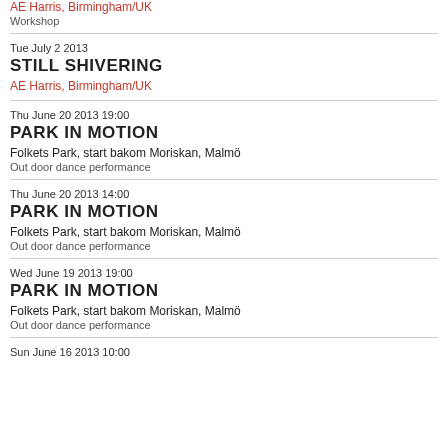AE Harris, Birmingham/UK
Workshop
Tue July 2 2013
STILL SHIVERING
AE Harris, Birmingham/UK
Thu June 20 2013 19:00
PARK IN MOTION
Folkets Park, start bakom Moriskan, Malmö
Out door dance performance
Thu June 20 2013 14:00
PARK IN MOTION
Folkets Park, start bakom Moriskan, Malmö
Out door dance performance
Wed June 19 2013 19:00
PARK IN MOTION
Folkets Park, start bakom Moriskan, Malmö
Out door dance performance
Sun June 16 2013 10:00